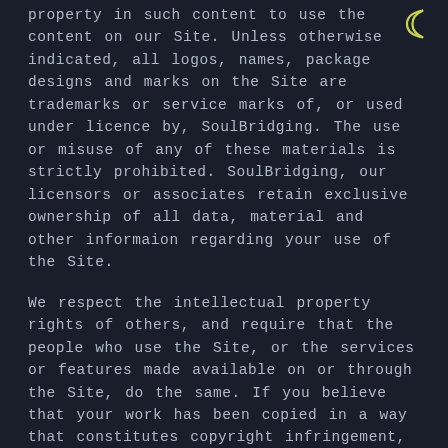property in such content to use the content on our Site. Unless otherwise indicated, all logos, names, package designs and marks on the Site are trademarks or service marks of, or used under licence by, SoulBridging. The use or misuse of any of these materials is strictly prohibited. SoulBridging, our licensors or associates retain exclusive ownership of all data, material and other informaion regarding your use of the Site.
We respect the intellectual property rights of others, and require that the people who use the Site, or the services or features made available on or through the Site, do the same. If you believe that your work has been copied in a way that constitutes copyright infringement, please forward the following information to SoulBridging at support@soulbridging.com: